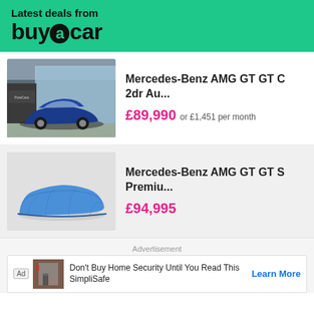Latest deals from buyacar
[Figure (photo): Blue Mercedes-Benz AMG GT C sports car in front of PureCars dealership]
Mercedes-Benz AMG GT GT C 2dr Au...
£89,990 or £1,451 per month
[Figure (photo): Car covered with blue tarpaulin on grey background]
Mercedes-Benz AMG GT GT S Premiu...
£94,995
Advertisement
Ad Don't Buy Home Security Until You Read This SimpliSafe Learn More